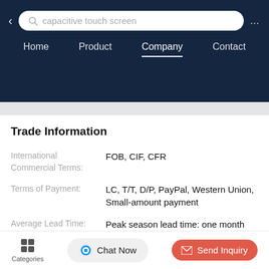capacitive touch screen — Home | Product | Company | Contact
Trade Information
|  |  |
| --- | --- |
| International Commercial Terms: | FOB, CIF, CFR |
| Terms of Payment: | LC, T/T, D/P, PayPal, Western Union, Small-amount payment |
| Average Lead Time: | Peak season lead time: one month
Off season lead time: one month |
| Number of | 21~50 People |
Categories | Chat Now | Send Inquiry